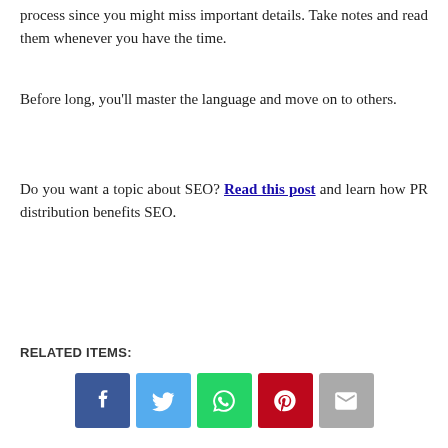process since you might miss important details. Take notes and read them whenever you have the time.
Before long, you'll master the language and move on to others.
Do you want a topic about SEO? Read this post and learn how PR distribution benefits SEO.
RELATED ITEMS: